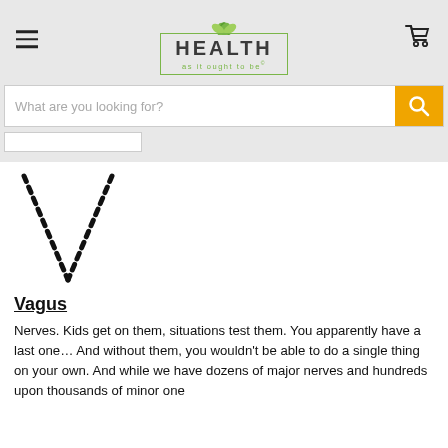HEALTH as it ought to be — website header with logo, hamburger menu, cart icon
[Figure (screenshot): Search bar with placeholder text 'What are you looking for?' and orange search button with magnifying glass icon, plus a small filter/category dropdown box below]
[Figure (illustration): A dashed V-shape symbol representing the vagus nerve pathway]
Vagus
Nerves. Kids get on them, situations test them. You apparently have a last one… And without them, you wouldn't be able to do a single thing on your own. And while we have dozens of major nerves and hundreds upon thousands of minor one